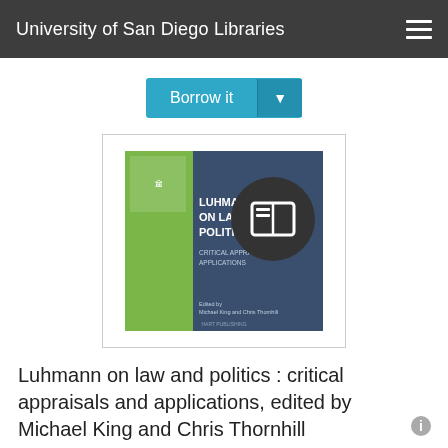University of San Diego Libraries
[Figure (other): Borrow it button with dropdown arrow, teal/blue color]
[Figure (photo): Book cover of Luhmann on Law and Politics: Critical Appraisals and Applications, with green and dark blue design, overlaid with a dark circular book icon badge]
Luhmann on law and politics : critical appraisals and applications, edited by Michael King and Chris Thornhill
Contributor